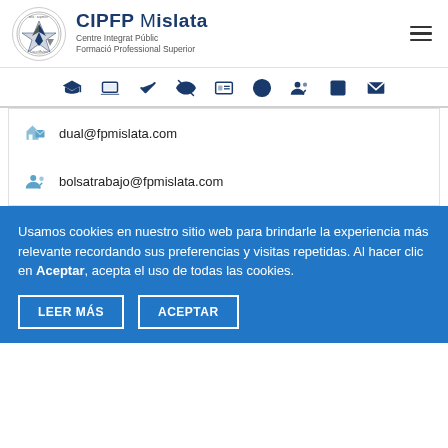[Figure (logo): CIPFP Mislata circular logo with star/bird emblem and text 'Centre Integrat Públic Formació Professional Superior']
CIPFP Mislata
Centre Integrat Públic Formació Professional Superior
[Figure (infographic): Navigation bar with 9 blue icons: graduation cap, laptop, checkmark, accessibility/eye-crossed, ID card, globe, people/users, square, envelope]
dual@fpmislata.com
bolsatrabajo@fpmislata.com
Usamos cookies en nuestro sitio web para brindarle la experiencia más relevante recordando sus preferencias y visitas repetidas. Al hacer clic en Aceptar, acepta el uso de todas las cookies.
LEER MÁS
ACEPTAR